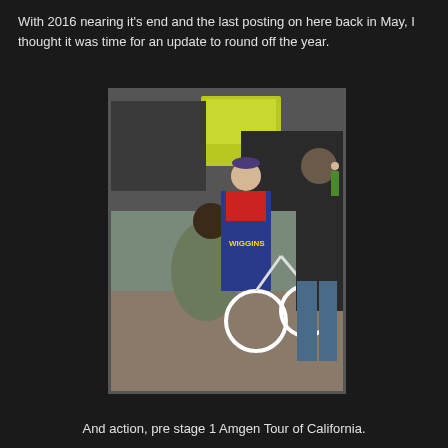With 2016 nearing it's end and the last posting on here back in May, I thought it was time for an update to round off the year.
[Figure (photo): Outdoor cycling event scene showing a cyclist in a blue and red 'Wiggins' Sky team jersey and cap standing with a white road bicycle, while a person in a green jacket crouches to inspect the bike. Another man in a dark hoodie and jeans stands to the right. Various team vehicles and people are visible in the background.]
And action, pre stage 1 Amgen Tour of California.